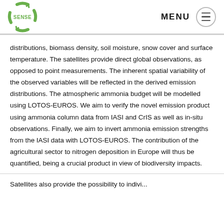SENSE | MENU
distributions, biomass density, soil moisture, snow cover and surface temperature. The satellites provide direct global observations, as opposed to point measurements. The inherent spatial variability of the observed variables will be reflected in the derived emission distributions. The atmospheric ammonia budget will be modelled using LOTOS-EUROS. We aim to verify the novel emission product using ammonia column data from IASI and CrIS as well as in-situ observations. Finally, we aim to invert ammonia emission strengths from the IASI data with LOTOS-EUROS. The contribution of the agricultural sector to nitrogen deposition in Europe will thus be quantified, being a crucial product in view of biodiversity impacts.
Satellites also provide the possibility to indivi...